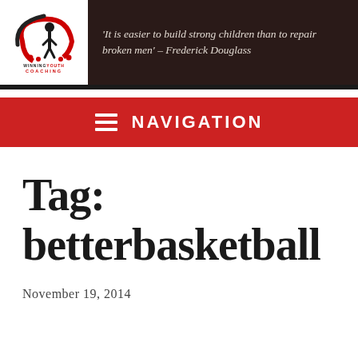[Figure (logo): Winning Youth Coaching logo with quote: 'It is easier to build strong children than to repair broken men' – Frederick Douglass]
NAVIGATION
Tag: betterbasketball
November 19, 2014